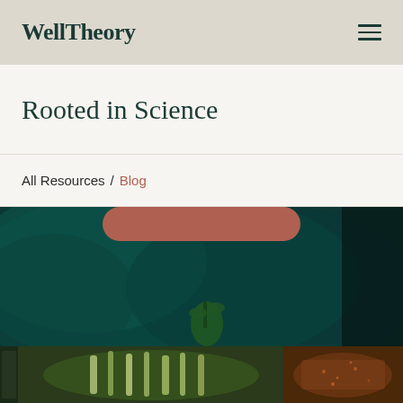WellTheory
Rooted in Science
All Resources / Blog
[Figure (photo): Close-up photo of a green plant or leaf against a dark teal/green background, with a reddish-brown pill/button shape at the top]
[Figure (photo): Thumbnail photos at the bottom of the page showing plant/food imagery: a green leafy vegetable on the left-center, and a reddish spice or ingredient on the right]